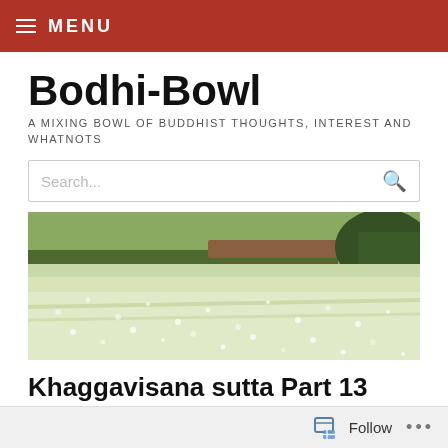MENU
Bodhi-Bowl
A MIXING BOWL OF BUDDHIST THOUGHTS, INTEREST AND WHATNOTS
[Figure (photo): A field of white wildflowers with a dark tree line and green fields in the background under an overcast sky]
Khaggavisana sutta Part 13
( LEAVE A COMMENT )
Follow ...